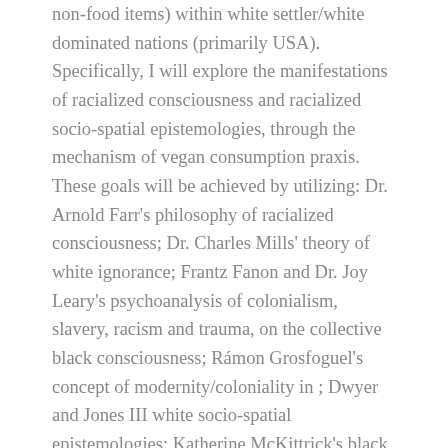non-food items) within white settler/white dominated nations (primarily USA). Specifically, I will explore the manifestations of racialized consciousness and racialized socio-spatial epistemologies, through the mechanism of vegan consumption praxis. These goals will be achieved by utilizing: Dr. Arnold Farr's philosophy of racialized consciousness; Dr. Charles Mills' theory of white ignorance; Frantz Fanon and Dr. Joy Leary's psychoanalysis of colonialism, slavery, racism and trauma, on the collective black consciousness; Rámon Grosfoguel's concept of modernity/coloniality in ; Dwyer and Jones III white socio-spatial epistemologies; Katherine McKittrick's black socio-spatial epistemologies, and Patricia Hill Collins' and bell hooks' black feminist analytical lens. Topics to be